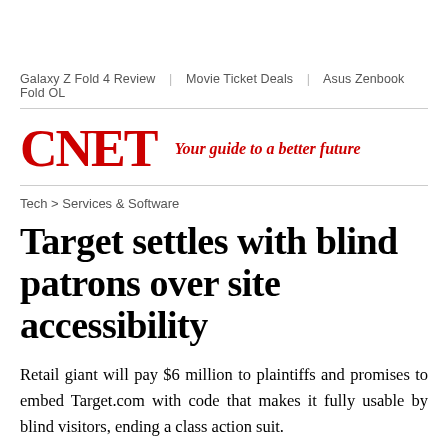Galaxy Z Fold 4 Review | Movie Ticket Deals | Asus Zenbook Fold OL
CNET — Your guide to a better future
Tech > Services & Software
Target settles with blind patrons over site accessibility
Retail giant will pay $6 million to plaintiffs and promises to embed Target.com with code that makes it fully usable by blind visitors, ending a class action suit.